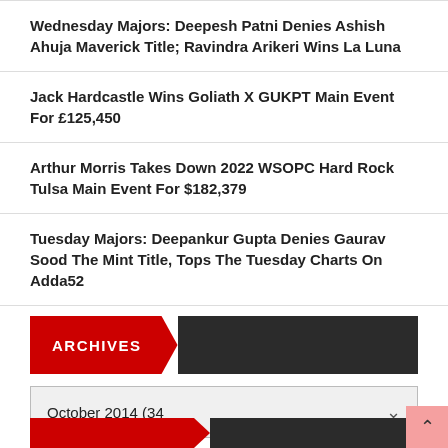Wednesday Majors: Deepesh Patni Denies Ashish Ahuja Maverick Title; Ravindra Arikeri Wins La Luna
Jack Hardcastle Wins Goliath X GUKPT Main Event For £125,450
Arthur Morris Takes Down 2022 WSOPC Hard Rock Tulsa Main Event For $182,379
Tuesday Majors: Deepankur Gupta Denies Gaurav Sood The Mint Title, Tops The Tuesday Charts On Adda52
ARCHIVES
October 2014  (34